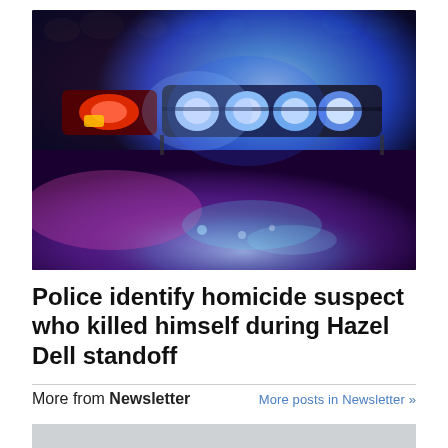[Figure (photo): Close-up night photo of police car emergency lights — blue and red flashing LED light bar on top of a police vehicle, illuminating the car roof in vivid blue, red, and purple colors against a dark background.]
Police identify homicide suspect who killed himself during Hazel Dell standoff
More from Newsletter
More posts in Newsletter »
[Figure (photo): Partially visible bottom image strip (cropped).]